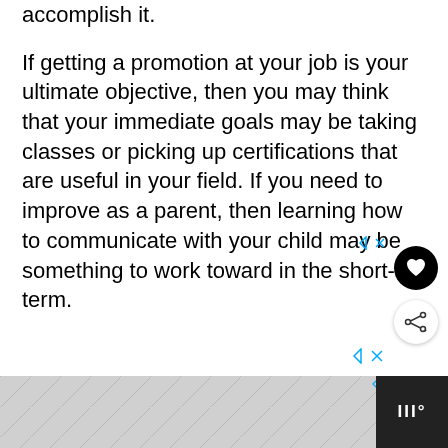accomplish it.
If getting a promotion at your job is your ultimate objective, then you may think that your immediate goals may be taking classes or picking up certifications that are useful in your field. If you need to improve as a parent, then learning how to communicate with your child may be something to work toward in the short-term.